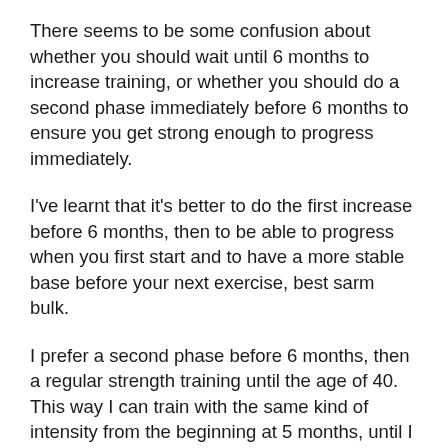There seems to be some confusion about whether you should wait until 6 months to increase training, or whether you should do a second phase immediately before 6 months to ensure you get strong enough to progress immediately.
I've learnt that it's better to do the first increase before 6 months, then to be able to progress when you first start and to have a more stable base before your next exercise, best sarm bulk.
I prefer a second phase before 6 months, then a regular strength training until the age of 40. This way I can train with the same kind of intensity from the beginning at 5 months, until I know I'm ready to progress and can train much more often, especially in the summer months (when I tend to be weak most of the time, so I